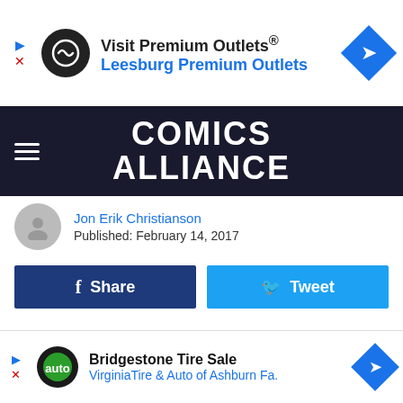[Figure (screenshot): Advertisement banner: Visit Premium Outlets® / Leesburg Premium Outlets with logo and arrow icon]
[Figure (logo): Comics Alliance website navigation bar with hamburger menu and logo text]
Jon Erik Christianson
Published: February 14, 2017
[Figure (screenshot): Share button (Facebook, dark blue) and Tweet button (Twitter, light blue)]
Ordinary blue-collar worker concerns may include low minimum wages or job automation. Repairman Logan Ibarra's concerns, however, aren't as ordinary; he just want to escape his night's last assignment without getting beheaded, assaulted by flowery parasites, or stabbed (any further).
[Figure (screenshot): Advertisement banner: Bridgestone Tire Sale / VirginiaTire & Auto of Ashburn Fa. with logo and arrow icon]